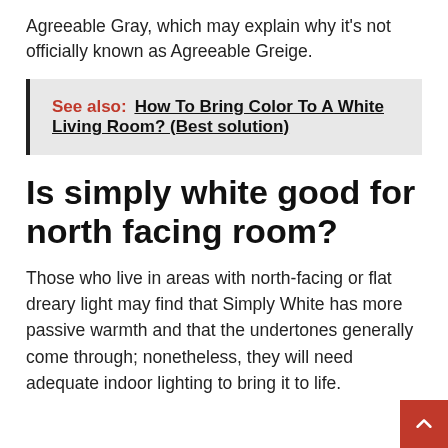Agreeable Gray, which may explain why it's not officially known as Agreeable Greige.
See also:  How To Bring Color To A White Living Room? (Best solution)
Is simply white good for north facing room?
Those who live in areas with north-facing or flat dreary light may find that Simply White has more passive warmth and that the undertones generally come through; nonetheless, they will need adequate indoor lighting to bring it to life.